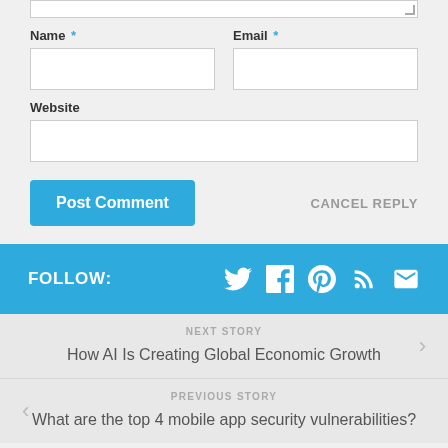Name * Email *
Website
Post Comment
CANCEL REPLY
FOLLOW:
NEXT STORY
How AI Is Creating Global Economic Growth
PREVIOUS STORY
What are the top 4 mobile app security vulnerabilities?